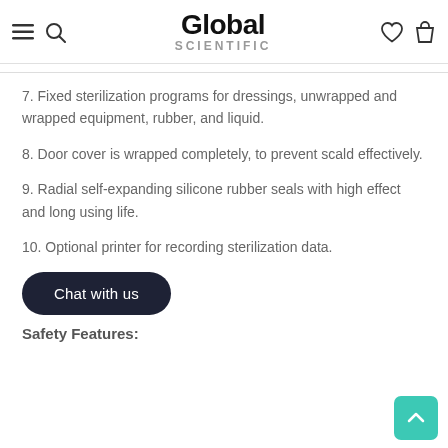Global Scientific
7. Fixed sterilization programs for dressings, unwrapped and wrapped equipment, rubber, and liquid.
8. Door cover is wrapped completely, to prevent scald effectively.
9. Radial self-expanding silicone rubber seals with high effect and long using life.
10. Optional printer for recording sterilization data.
Chat with us
Safety Features: